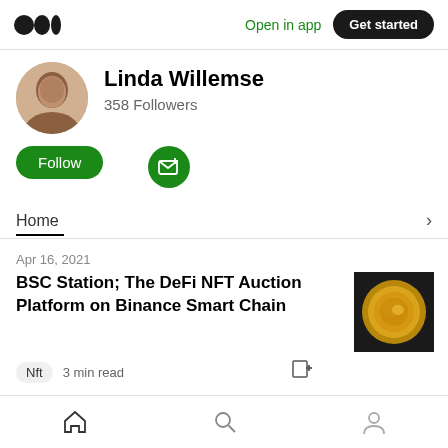Medium app header — Open in app | Get started
Linda Willemse
358 Followers
Follow
Home
Apr 16, 2021
BSC Station; The DeFi NFT Auction Platform on Binance Smart Chain
Nft   3 min read
Home | Search | Profile